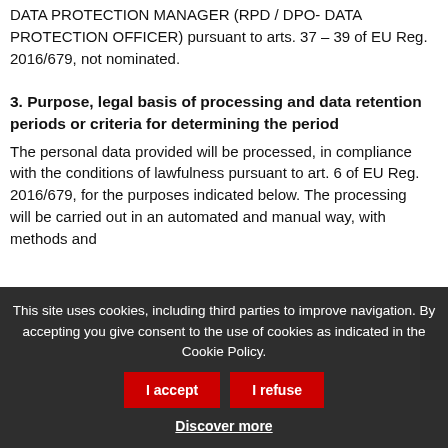DATA PROTECTION MANAGER (RPD / DPO- DATA PROTECTION OFFICER) pursuant to arts. 37 – 39 of EU Reg. 2016/679, not nominated.
3. Purpose, legal basis of processing and data retention periods or criteria for determining the period
The personal data provided will be processed, in compliance with the conditions of lawfulness pursuant to art. 6 of EU Reg. 2016/679, for the purposes indicated below. The processing will be carried out in an automated and manual way, with methods and
This site uses cookies, including third parties to improve navigation. By accepting you give consent to the use of cookies as indicated in the Cookie Policy.
I accept
I refuse
Discover more